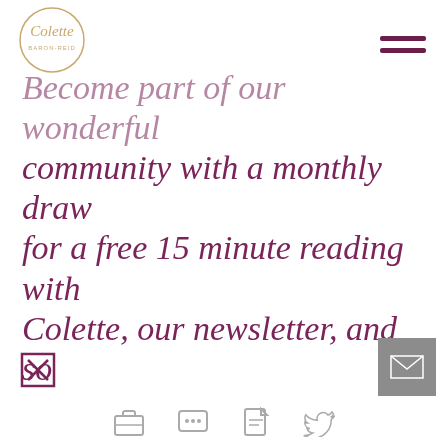[Figure (logo): Colette Baron-Reid circular logo in gold/beige tones with cursive text]
Become part of our wonderful community with a monthly draw for a free 15 minute reading with Colette, our newsletter, and so many giveaways. Go to the HOME page and join now!
[Figure (illustration): Small icon: checkbox or X symbol in purple]
[Figure (illustration): Grey email button in bottom right corner with envelope icon]
[Figure (illustration): Row of small social/navigation icons at the bottom of the page]